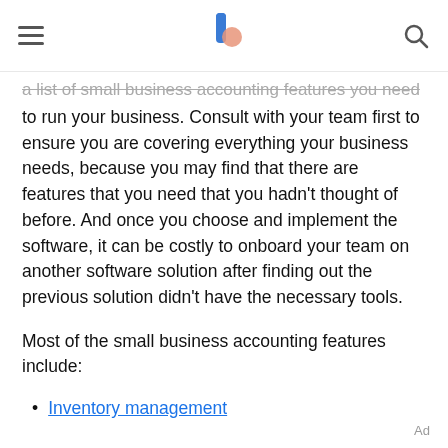[hamburger menu] [logo] [search icon]
a list of small business accounting features you need to run your business. Consult with your team first to ensure you are covering everything your business needs, because you may find that there are features that you need that you hadn't thought of before. And once you choose and implement the software, it can be costly to onboard your team on another software solution after finding out the previous solution didn't have the necessary tools.
Most of the small business accounting features include:
Inventory management